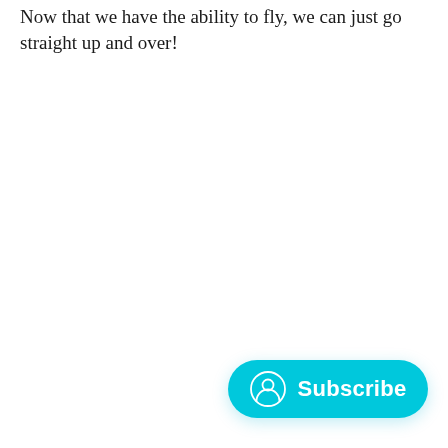Now that we have the ability to fly, we can just go straight up and over!
[Figure (other): A teal/cyan rounded pill-shaped Subscribe button with a person/user icon on the left and the word 'Subscribe' in white text]